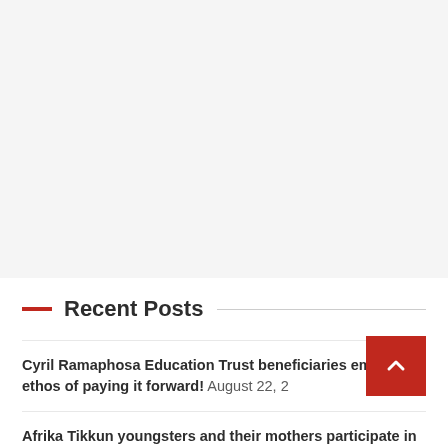[Figure (other): Large white/light grey empty area at the top of the page, likely an advertisement or image placeholder]
Recent Posts
Cyril Ramaphosa Education Trust beneficiaries embrace ethos of paying it forward! August 22, 2
Afrika Tikkun youngsters and their mothers participate in the Martial Arts Tournament August